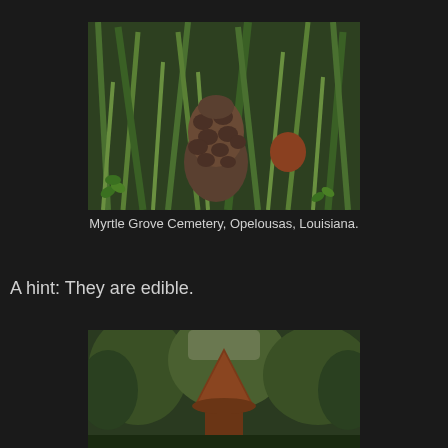[Figure (photo): Close-up photograph of a morel mushroom growing among green grass blades and clover leaves in a cemetery]
Myrtle Grove Cemetery, Opelousas, Louisiana.
A hint: They are edible.
[Figure (photo): Photograph of a large morel mushroom or mushroom-shaped object standing tall among green trees and shrubs]